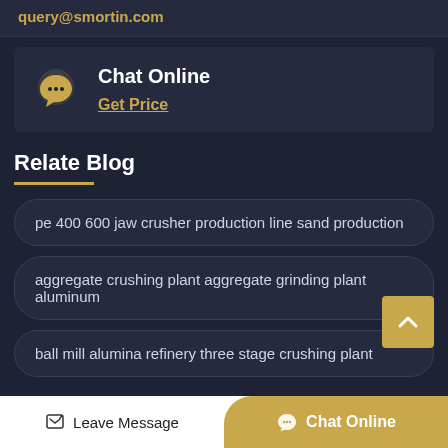query@smortin.com
Chat Online
Get Price
Relate Blog
pe 400 600 jaw crusher production line sand production
aggregate crushing plant aggregate grinding plant aluminum
ball mill alumina refinery three stage crushing plant
Leave Message | Chat Online